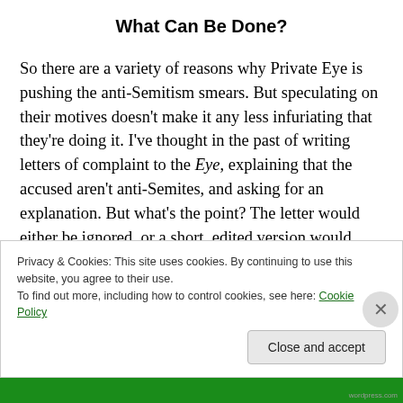What Can Be Done?
So there are a variety of reasons why Private Eye is pushing the anti-Semitism smears. But speculating on their motives doesn’t make it any less infuriating that they’re doing it. I’ve thought in the past of writing letters of complaint to the Eye, explaining that the accused aren’t anti-Semites, and asking for an explanation. But what’s the point? The letter would either be ignored, or a short, edited version would appear in the magazine, which would allow them to reply quoting Lansman or someone else that anti-
Privacy & Cookies: This site uses cookies. By continuing to use this website, you agree to their use.
To find out more, including how to control cookies, see here: Cookie Policy
Close and accept